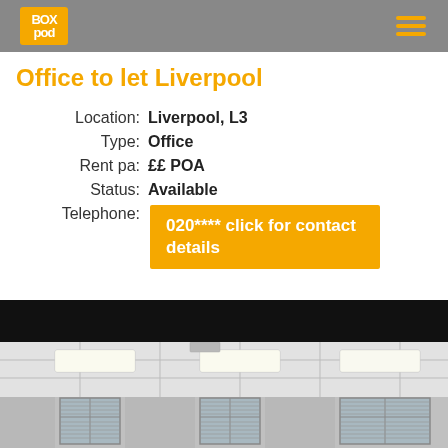Boxpod
Office to let Liverpool
| Label | Value |
| --- | --- |
| Location: | Liverpool, L3 |
| Type: | Office |
| Rent pa: | ££ POA |
| Status: | Available |
| Telephone: | 020**** click for contact details |
[Figure (photo): Interior photo of office space with white suspended ceiling, ceiling lights, and windows with blinds. Image has a black bar at top.]